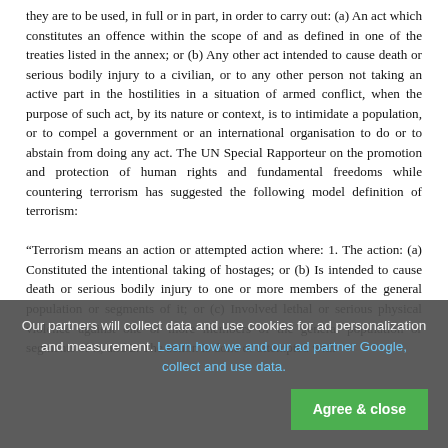they are to be used, in full or in part, in order to carry out: (a) An act which constitutes an offence within the scope of and as defined in one of the treaties listed in the annex; or (b) Any other act intended to cause death or serious bodily injury to a civilian, or to any other person not taking an active part in the hostilities in a situation of armed conflict, when the purpose of such act, by its nature or context, is to intimidate a population, or to compel a government or an international organisation to do or to abstain from doing any act. The UN Special Rapporteur on the promotion and protection of human rights and fundamental freedoms while countering terrorism has suggested the following model definition of terrorism:

“Terrorism means an action or attempted action where: 1. The action: (a) Constituted the intentional taking of hostages; or (b) Is intended to cause death or serious bodily injury to one or more members of the general population or segments of it; or (c) Involved lethal or serious physical violence against one or more members of the general population or segments of it; and 2. The action is done or attempted with
Our partners will collect data and use cookies for ad personalization and measurement. Learn how we and our ad partner Google, collect and use data.
Agree & close